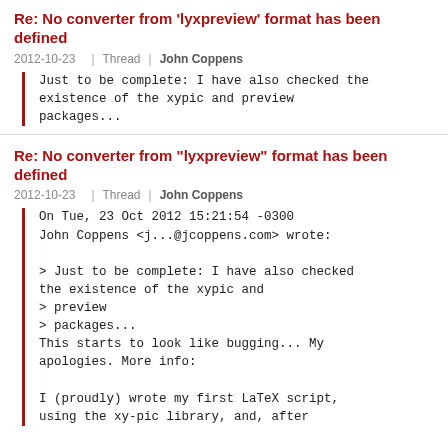Re: No converter from 'lyxpreview' format has been defined
2012-10-23 | Thread | John Coppens
Just to be complete: I have also checked the existence of the xypic and preview packages...
Re: No converter from "lyxpreview" format has been defined
2012-10-23 | Thread | John Coppens
On Tue, 23 Oct 2012 15:21:54 -0300
John Coppens <j...@jcoppens.com> wrote:

> Just to be complete: I have also checked
the existence of the xypic and
> preview
> packages...
This starts to look like bugging... My
apologies. More info:

I (proudly) wrote my first LaTeX script,
using the xy-pic library, and, after